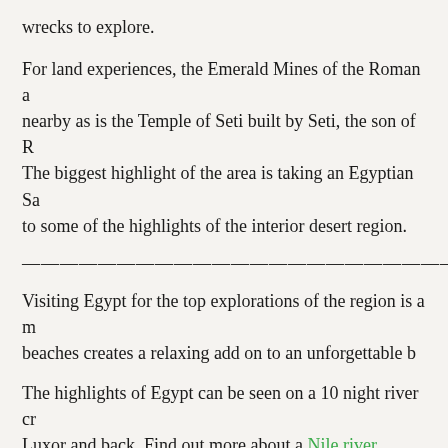wrecks to explore.
For land experiences, the Emerald Mines of the Roman a nearby as is the Temple of Seti built by Seti, the son of R The biggest highlight of the area is taking an Egyptian Sa to some of the highlights of the interior desert region.
————————————————————————————————
Visiting Egypt for the top explorations of the region is a m beaches creates a relaxing add on to an unforgettable b
The highlights of Egypt can be seen on a 10 night river cr Luxor and back. Find out more about a Nile river cruisin
Share this:
Twitter  LinkedIn  Facebook  Email